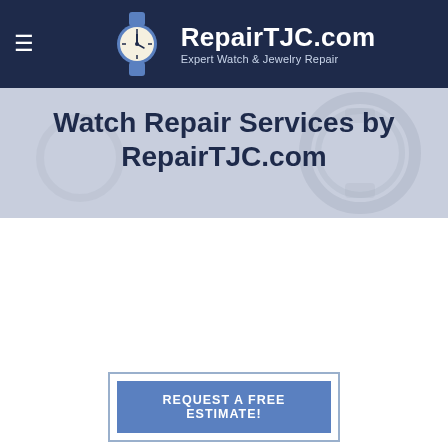RepairTJC.com — Expert Watch & Jewelry Repair
Watch Repair Services by RepairTJC.com
REQUEST A FREE ESTIMATE!